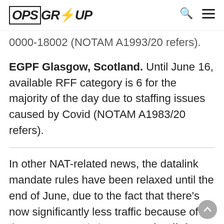OPS GROUP [logo with search and menu icons]
0000-18002 (NOTAM A1993/20 refers).
EGPF Glasgow, Scotland. Until June 16, available RFF category is 6 for the majority of the day due to staffing issues caused by Covid (NOTAM A1983/20 refers).
In other NAT-related news, the datalink mandate rules have been relaxed until the end of June, due to the fact that there's now significantly less traffic because of all the COVID restrictions. Non-datalink mandate compliant aircraft may